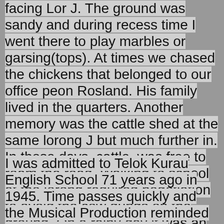facing Lor J. The ground was sandy and during recess time I went there to play marbles or garsing(tops). At times we chased the chickens that belonged to our office peon Rosland. His family lived in the quarters. Another memory was the cattle shed at the same lorong J but much further in. In those days, cattle  was free to roam the road. Walking to school at the lorong required negotiation to avoid the cow dungs on the ground. On a rainy day it was an impossible task not to step on it.
I was admitted to Telok Kurau English School 71 years ago in 1945. Time passes quickly and the Musical Production reminded me that I was young once.